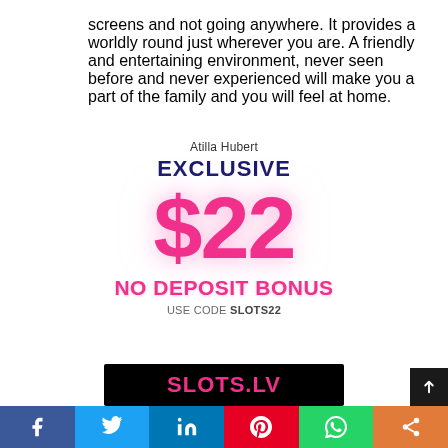screens and not going anywhere. It provides a worldly round just wherever you are. A friendly and entertaining environment, never seen before and never experienced will make you a part of the family and you will feel at home.
[Figure (infographic): Promotional banner: Atilla Hubert Exclusive $22 No Deposit Bonus, Use Code SLOTS22]
[Figure (logo): Slots.LV logo on black background]
[Figure (infographic): Social sharing bar with Facebook, Twitter, LinkedIn, Pinterest, WhatsApp, and Share buttons]